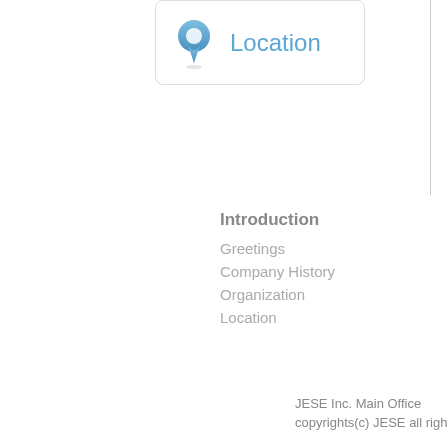[Figure (illustration): Location app icon with a blue map pin marker on a white card with rounded corners, next to the text 'Location' in blue]
Introduction
Greetings
Company History
Organization
Location
Areas o[f...]
Transla[tion...]
Servic[es...]
Langu[ages...]
Transl[ation...]
Transl[ation...]
Transl[ation...]
JESE Inc. Main Office   91... | copyrights(c) JESE all rights rese[rved...]